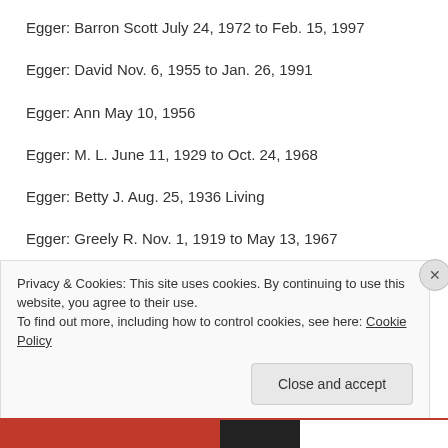Egger: Barron Scott July 24, 1972 to Feb. 15, 1997
Egger: David Nov. 6, 1955 to Jan. 26, 1991
Egger: Ann May 10, 1956
Egger: M. L. June 11, 1929 to Oct. 24, 1968
Egger: Betty J. Aug. 25, 1936 Living
Egger: Greely R. Nov. 1, 1919 to May 13, 1967
Privacy & Cookies: This site uses cookies. By continuing to use this website, you agree to their use. To find out more, including how to control cookies, see here: Cookie Policy